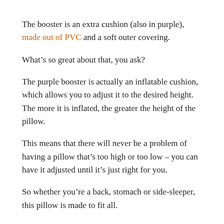The booster is an extra cushion (also in purple), made out of PVC and a soft outer covering.
What’s so great about that, you ask?
The purple booster is actually an inflatable cushion, which allows you to adjust it to the desired height. The more it is inflated, the greater the height of the pillow.
This means that there will never be a problem of having a pillow that’s too high or too low – you can have it adjusted until it’s just right for you.
So whether you’re a back, stomach or side-sleeper, this pillow is made to fit all.
4. No More Fluffing!